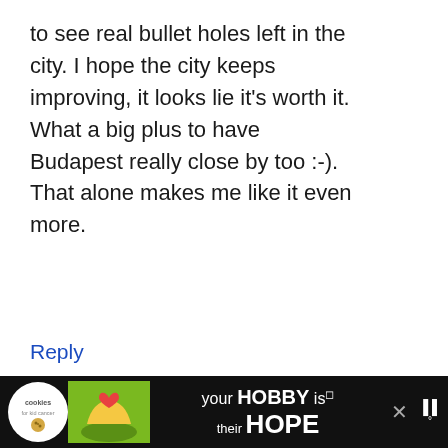to see real bullet holes left in the city. I hope the city keeps improving, it looks lie it's worth it. What a big plus to have Budapest really close by too :-). That alone makes me like it even more.
Reply
C. the Romanian
September 22, 2016 at 6:08 am
[Figure (screenshot): Advertisement banner: cookies for kid cancer charity with text 'your HOBBY is their HOPE' with green background section]